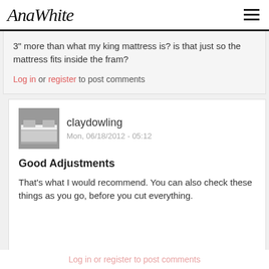AnaWhite
3" more than what my king mattress is? is that just so the mattress fits inside the fram?
Log in or register to post comments
[Figure (photo): Avatar photo of a bed with white bedding]
claydowling
Mon, 06/18/2012 - 05:12
Good Adjustments
That's what I would recommend. You can also check these things as you go, before you cut everything.
Log in or register to post comments